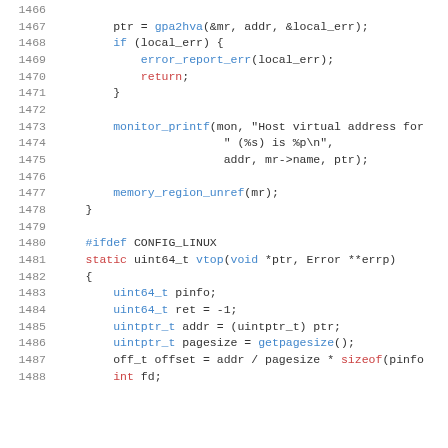[Figure (screenshot): Source code listing showing C code lines 1466-1488, with line numbers in grey, keywords and function calls in blue, and certain keywords like 'return' and 'static' in red. Code includes gpa2hva call, error handling, monitor_printf, memory_region_unref, #ifdef CONFIG_LINUX, vtop function definition, and variable declarations.]